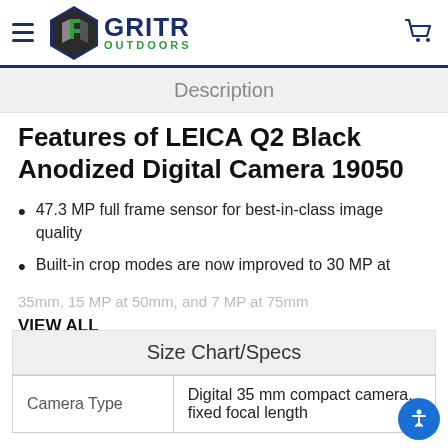GRITR OUTDOORS
Description
Features of LEICA Q2 Black Anodized Digital Camera 19050
47.3 MP full frame sensor for best-in-class image quality
Built-in crop modes are now improved to 30 MP at 35mm, 15 MP at 50mm, and 7 MP at 75mm
VIEW ALL
Size Chart/Specs
| Camera Type |  |
| --- | --- |
| Camera Type | Digital 35 mm compact camera, fixed focal length |